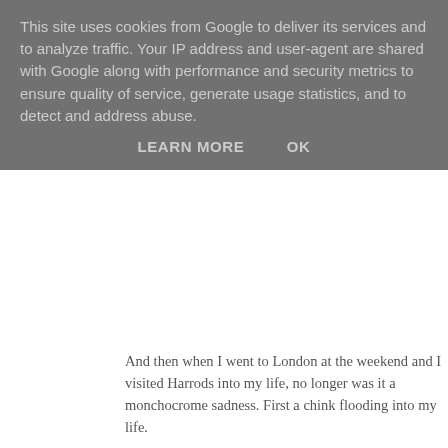This site uses cookies from Google to deliver its services and to analyze traffic. Your IP address and user-agent are shared with Google along with performance and security metrics to ensure quality of service, generate usage statistics, and to detect and address abuse.
LEARN MORE   OK
And then when I went to London at the weekend and I visited Harrods into my life, no longer was it a monchocrome sadness. First a chink flooding into my life.
[Figure (photo): A classical bust sculpture of a Roman figure wearing a laurel wreath made of green leaves. The bust shows a white marble face with detailed gold and colorful decorative armor/breastplate with lion motifs and green/blue enamel details. The background is a muted blue-grey.]